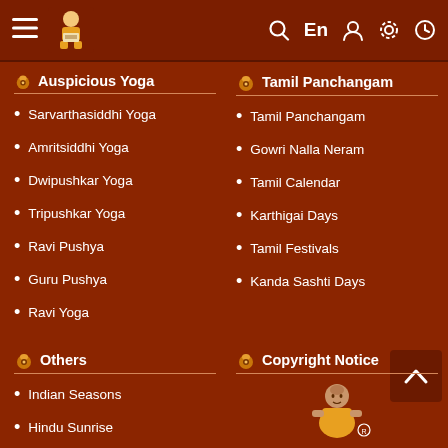Navigation bar with hamburger menu, logo, search, En, user, settings, clock icons
Auspicious Yoga
Sarvarthasiddhi Yoga
Amritsiddhi Yoga
Dwipushkar Yoga
Tripushkar Yoga
Ravi Pushya
Guru Pushya
Ravi Yoga
Tamil Panchangam
Tamil Panchangam
Gowri Nalla Neram
Tamil Calendar
Karthigai Days
Tamil Festivals
Kanda Sashti Days
Others
Indian Seasons
Hindu Sunrise
Copyright Notice
[Figure (illustration): Illustration of a traditional Hindu panchangam scholar/saint figure in yellow/orange robes]